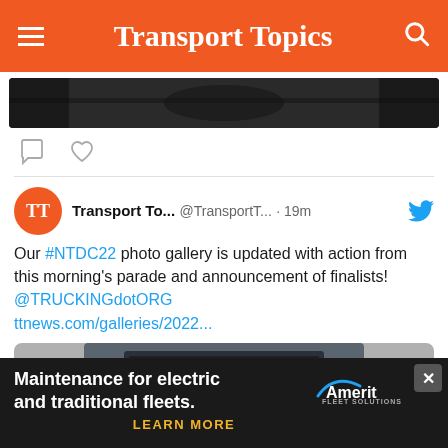Transport Topics
[Figure (photo): Partial cropped photo at top of social media feed]
[Figure (screenshot): Social icons row — comment bubble and heart icons]
Transport To... @TransportT... · 19m  Our #NTDC22 photo gallery is updated with action from this morning's parade and announcement of finalists! @TRUCKINGdotORG ttnews.com/galleries/2022...
[Figure (photo): Photo of a mechanic in blue coveralls lying under the front of a large truck, servicing the vehicle]
[Figure (infographic): Advertisement banner: Maintenance for electric and traditional fleets. LEARN MORE. Amerit Fleet Solutions logo. Close button with X.]